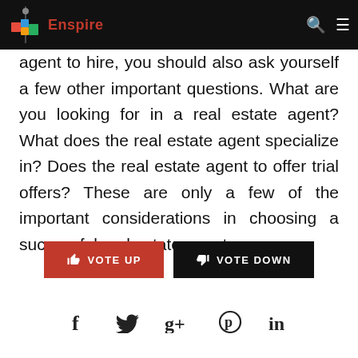Enspire
agent to hire, you should also ask yourself a few other important questions. What are you looking for in a real estate agent? What does the real estate agent specialize in? Does the real estate agent to offer trial offers? These are only a few of the important considerations in choosing a successful real estate agent.
[Figure (other): Vote Up and Vote Down buttons]
[Figure (other): Social sharing icons: Facebook, Twitter, Google+, Pinterest, LinkedIn]